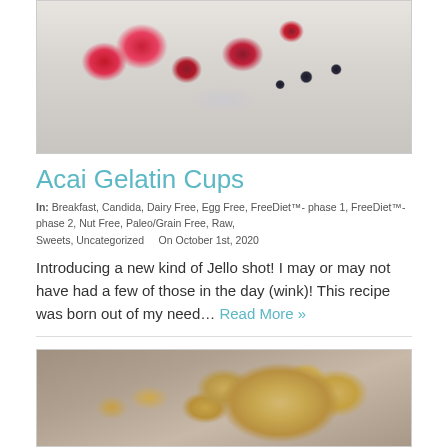[Figure (photo): Photo of acai gelatin cups in a glass dessert dish with strawberries and blueberries and a spoon]
Acai Gelatin Cups
In: Breakfast, Candida, Dairy Free, Egg Free, FreeDiet™- phase 1, FreeDiet™- phase 2, Nut Free, Paleo/Grain Free, Raw, Sweets, Uncategorized    On October 1st, 2020
Introducing a new kind of Jello shot! I may or may not have had a few of those in the day (wink)! This recipe was born out of my need… Read More »
[Figure (photo): Photo of cashews in a glass jar with a metal scoop]